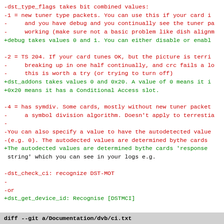diff --git code block showing changes to DVB documentation files, with red lines (removals) and green lines (additions) in unified diff format
diff --git a/Documentation/dvb/ci.txt